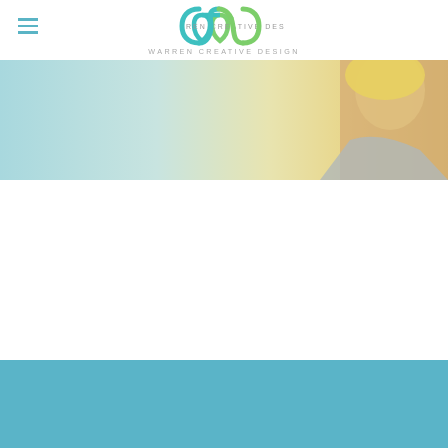[Figure (logo): Warren Creative Design logo with stylized 'w' letterform in teal and green, with text 'WARREN CREATIVE DESIGN' below]
[Figure (photo): Banner photo showing a woman with blonde hair, warm gradient from teal/blue on left to warm yellow/gold in the center, with a partial view of a person on the right side]
[Figure (other): Solid teal/blue colored footer bar]